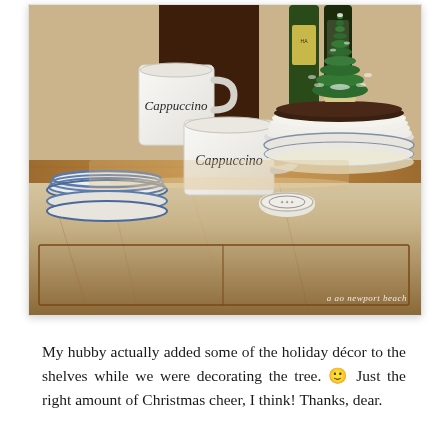[Figure (photo): A wooden sideboard or buffet with holiday décor including stacked white plates and blue-and-white dishes, two white cappuccino mugs, a small bottle-brush Christmas tree on top of the stacked plates, wine bottles in the background, and a small decorative tin. The wood surface is warm brown. A watermark reads 'a ao newport beach' in the lower right.]
My hubby actually added some of the holiday décor to the shelves while we were decorating the tree. 🙂 Just the right amount of Christmas cheer, I think! Thanks, dear.